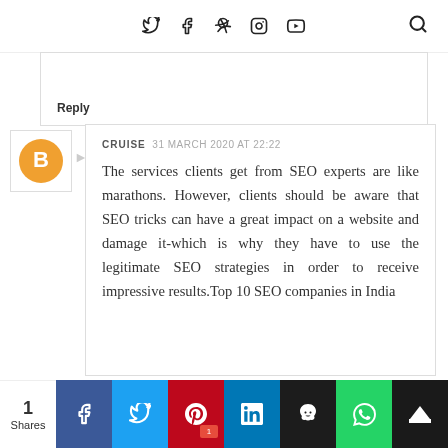social icons navigation bar with Twitter, Facebook, Pinterest, Instagram, YouTube, and Search
Reply
CRUISE  31 MARCH 2020 AT 22:22

The services clients get from SEO experts are like marathons. However, clients should be aware that SEO tricks can have a great impact on a website and damage it-which is why they have to use the legitimate SEO strategies in order to receive impressive results.Top 10 SEO companies in India
1 Shares | Share buttons: Facebook, Twitter, Pinterest (1), LinkedIn, Buffer, WhatsApp, SU